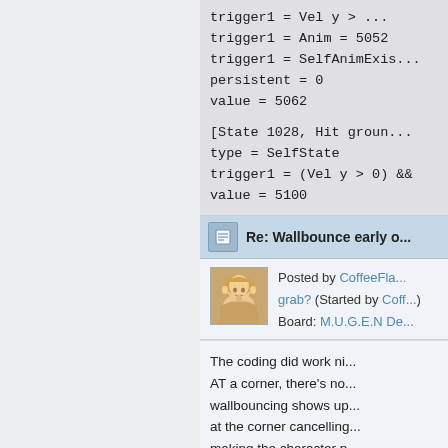trigger1 = Vel y > ...
trigger1 = Anim = 5052
trigger1 = SelfAnimExis...
persistent = 0
value = 5062

[State 1028, Hit groun...
type = SelfState
trigger1 = (Vel y > 0) &&...
value = 5100
Re: Wallbounce early o...
Posted by CoffeeFla... grab? (Started by Coff...) Board: M.U.G.E.N De...
The coding did work ni... AT a corner, there's no... wallbouncing shows up... at the corner cancelling... making the character p...